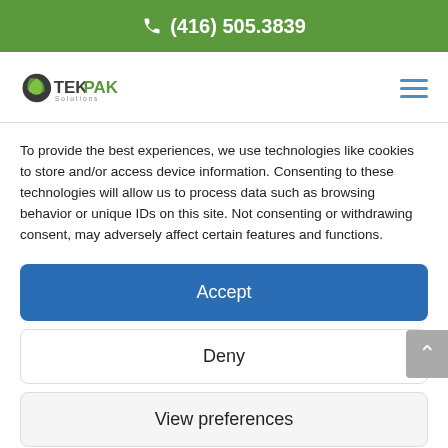(416) 505.3839
[Figure (logo): TekPak Solutions logo with leaf icon]
To provide the best experiences, we use technologies like cookies to store and/or access device information. Consenting to these technologies will allow us to process data such as browsing behavior or unique IDs on this site. Not consenting or withdrawing consent, may adversely affect certain features and functions.
Accept
Deny
View preferences
Cookie Policy   Privacy Policy